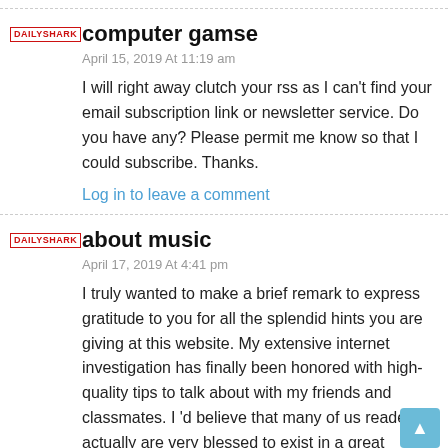computer gamse
April 15, 2019 At 11:19 am
I will right away clutch your rss as I can't find your email subscription link or newsletter service. Do you have any? Please permit me know so that I could subscribe. Thanks.
Log in to leave a comment
about music
April 17, 2019 At 4:41 pm
I truly wanted to make a brief remark to express gratitude to you for all the splendid hints you are giving at this website. My extensive internet investigation has finally been honored with high-quality tips to talk about with my friends and classmates. I 'd believe that many of us readers actually are very blessed to exist in a great network with very many special individuals with very